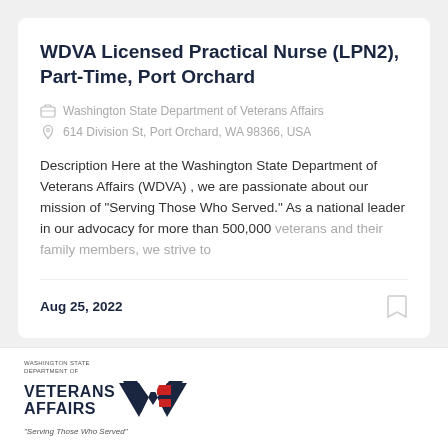WDVA Licensed Practical Nurse (LPN2), Part-Time, Port Orchard
Washington State Department of Veterans Affairs
614 Division St, Port Orchard, WA 98366, USA
Description Here at the Washington State Department of Veterans Affairs (WDVA) , we are passionate about our mission of “Serving Those Who Served.” As a national leader in our advocacy for more than 500,000 veterans and their family members, we strive to
Aug 25, 2022
[Figure (logo): Washington State Department of Veterans Affairs logo with eagle emblem and text 'Serving Those Who Served']